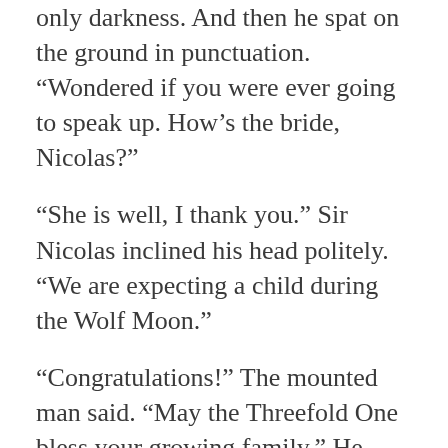only darkness. And then he spat on the ground in punctuation. “Wondered if you were ever going to speak up. How’s the bride, Nicolas?”
“She is well, I thank you.” Sir Nicolas inclined his head politely. “We are expecting a child during the Wolf Moon.”
“Congratulations!” The mounted man said. “May the Threefold One bless your growing family.” He grinned. “Didn’t waste any time, did you?”
“I thank you, Frederick.” Sir Nicolas bowed to his colleague. His wry smile was evident in his tone. “We saw no reason to wait.”
Hoofbeats interrupted their conversation. “Ah,” the mounted man said. “I reckon that’s